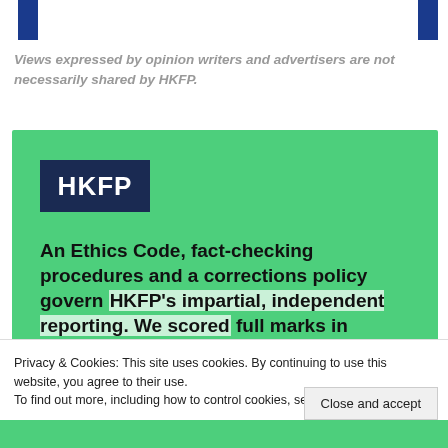Views expressed by opinion writers and advertisers are not necessarily shared by HKFP.
[Figure (infographic): Green HKFP promotional box with HKFP logo (white text on dark navy background) and bold text reading: An Ethics Code, fact-checking procedures and a corrections policy govern HKFP's impartial, independent reporting. We scored full marks in]
Privacy & Cookies: This site uses cookies. By continuing to use this website, you agree to their use.
To find out more, including how to control cookies, see here: Cookie Policy
Close and accept